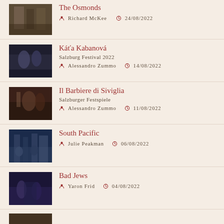The Osmonds | Richard McKee | 24/08/2022
Káťa Kabanová | Salzburg Festival 2022 | Alessandro Zummo | 14/08/2022
Il Barbiere di Siviglia | Salzburger Festspiele | Alessandro Zummo | 11/08/2022
South Pacific | Julie Peakman | 06/08/2022
Bad Jews | Yaron Frid | 04/08/2022
(partially visible entry)